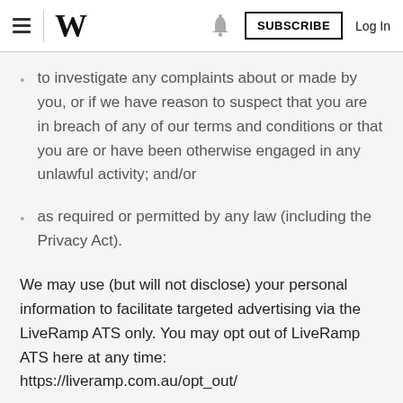W  SUBSCRIBE  Log In
to investigate any complaints about or made by you, or if we have reason to suspect that you are in breach of any of our terms and conditions or that you are or have been otherwise engaged in any unlawful activity; and/or
as required or permitted by any law (including the Privacy Act).
We may use (but will not disclose) your personal information to facilitate targeted advertising via the LiveRamp ATS only. You may opt out of LiveRamp ATS here at any time: https://liveramp.com.au/opt_out/